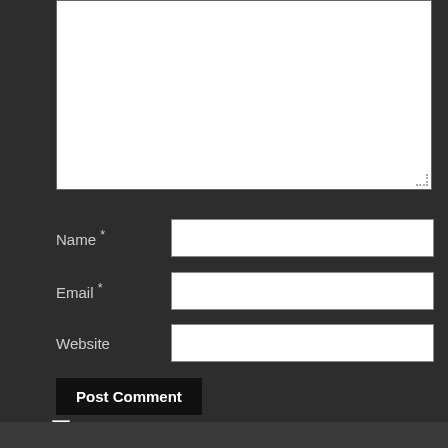[Figure (screenshot): Web comment form textarea — large white input box, partially visible at top of page]
Name *
[Figure (screenshot): Name text input field — white rectangular input box]
Email *
[Figure (screenshot): Email text input field — white rectangular input box]
Website
[Figure (screenshot): Website text input field — white rectangular input box]
Post Comment
Notify me of new comments via email.
Notify me of new posts via email.